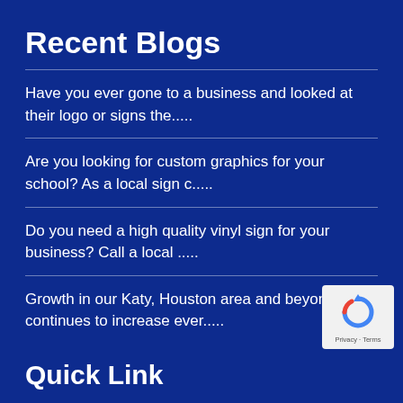Recent Blogs
Have you ever gone to a business and looked at their logo or signs the.....
Are you looking for custom graphics for your school? As a local sign c.....
Do you need a high quality vinyl sign for your business? Call a local .....
Growth in our Katy, Houston area and beyond continues to increase ever.....
Quick Link
Home